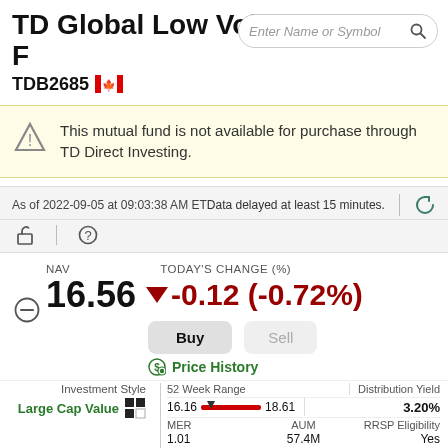TD Global Low Volatility Class F
TDB2685 🍁
Enter Name or Symbol
This mutual fund is not available for purchase through TD Direct Investing.
As of 2022-09-05 at 09:03:38 AM ET Data delayed at least 15 minutes.
NAV
16.56
TODAY'S CHANGE (%)
▼ -0.12 (-0.72%)
Buy   Sell
Price History
Investment Style
Large Cap Value
| 52 Week Range | Distribution Yield |
| --- | --- |
| 16.16  ——  18.61 | 3.20% |
| MER | AUM | RRSP Eligibility | Load Type |
| 1.01 | 57.4M | Yes | No Load |